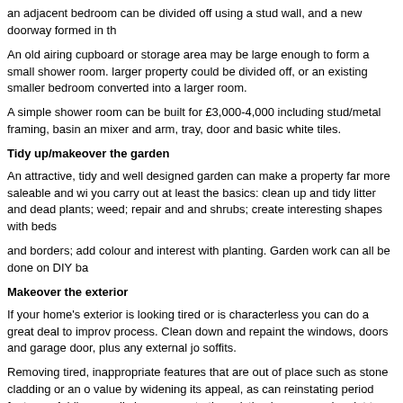an adjacent bedroom can be divided off using a stud wall, and a new doorway formed in th
An old airing cupboard or storage area may be large enough to form a small shower room. larger property could be divided off, or an existing smaller bedroom converted into a larger room.
A simple shower room can be built for £3,000-4,000 including stud/metal framing, basin an mixer and arm, tray, door and basic white tiles.
Tidy up/makeover the garden
An attractive, tidy and well designed garden can make a property far more saleable and wi you carry out at least the basics: clean up and tidy litter and dead plants; weed; repair and and shrubs; create interesting shapes with beds
and borders; add colour and interest with planting. Garden work can all be done on DIY ba
Makeover the exterior
If your home's exterior is looking tired or is characterless you can do a great deal to improv process. Clean down and repaint the windows, doors and garage door, plus any external jo soffits.
Removing tired, inappropriate features that are out of place such as stone cladding or an o value by widening its appeal, as can reinstating period features. Adding a well chosen porc to the existing house can do a lot to provide a focal point and add character.